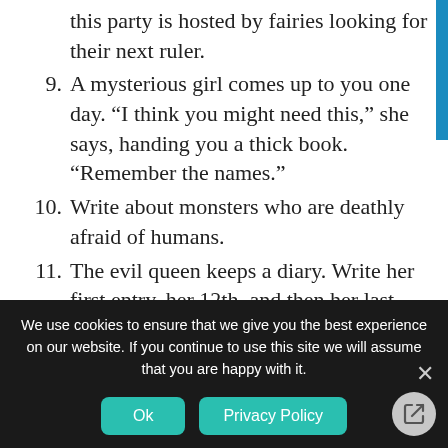this party is hosted by fairies looking for their next ruler.
9. A mysterious girl comes up to you one day. “I think you might need this,” she says, handing you a thick book. “Remember the names.”
10. Write about monsters who are deathly afraid of humans.
11. The evil queen keeps a diary. Write her first entry, her 12th, and then her last.
12. It’s the annual wizards’ conference and you’re feeling less than enthusiastic about it, having fallen out of practice for years.
We use cookies to ensure that we give you the best experience on our website. If you continue to use this site we will assume that you are happy with it.
Ok  Privacy Policy